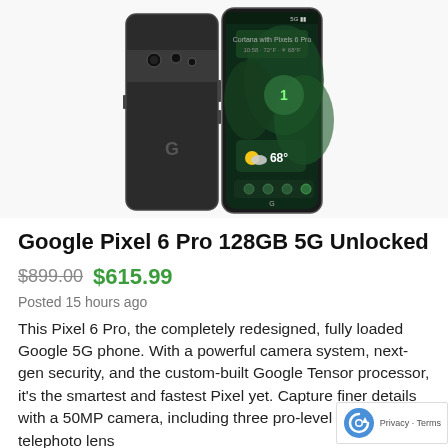[Figure (photo): Google Pixel 6 Pro smartphone shown from two angles: back (black/dark gray with camera bar and G logo) and front (showing Android home screen with tropical wallpaper, time widget, and 68° weather widget)]
Google Pixel 6 Pro 128GB 5G Unlocked
$899.00  $615.99
Posted 15 hours ago
This Pixel 6 Pro, the completely redesigned, fully loaded Google 5G phone. With a powerful camera system, next-gen security, and the custom-built Google Tensor processor, it's the smartest and fastest Pixel yet. Capture finer details with a 50MP camera, including three pro-level lenses and a telephoto lens